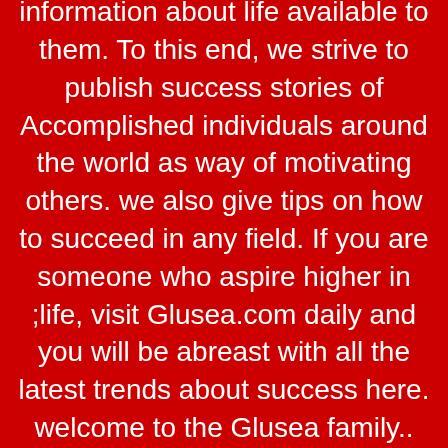every individual live his/her life based on the amount of information about life available to them. To this end, we strive to publish success stories of Accomplished individuals around the world as way of motivating others. we also give tips on how to succeed in any field. If you are someone who aspire higher in ;life, visit Glusea.com daily and you will be abreast with all the latest trends about success here. welcome to the Glusea family.. we love you dearly contact us via email : gluseagh@gmail.com